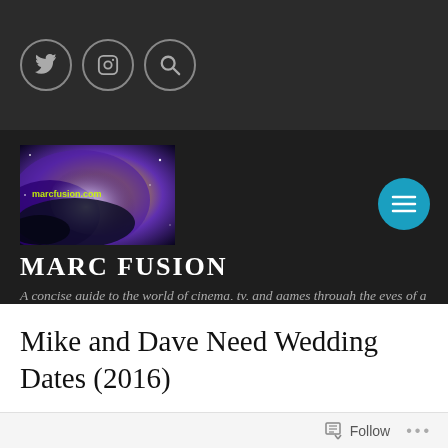[Figure (screenshot): Website header navigation bar with three circular icon buttons: Twitter bird icon, Instagram camera icon, and a magnifying glass search icon, on a dark background.]
[Figure (logo): MarcFusion.com logo image showing a cosmic/galaxy scene with purple clouds and bright light, with the site URL in yellow-green text overlay.]
MARC FUSION
A concise guide to the world of cinema, tv, and games through the eyes of a sociopath
Mike and Dave Need Wedding Dates (2016)
Follow  ...